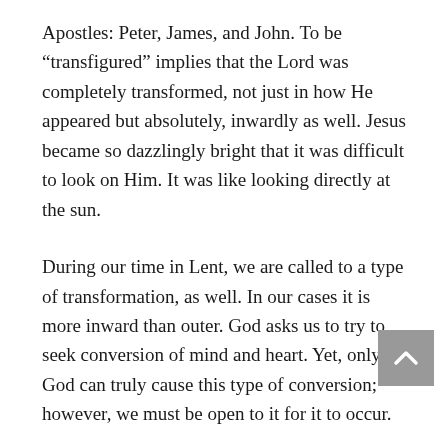Apostles: Peter, James, and John. To be “transfigured” implies that the Lord was completely transformed, not just in how He appeared but absolutely, inwardly as well. Jesus became so dazzlingly bright that it was difficult to look on Him. It was like looking directly at the sun.
During our time in Lent, we are called to a type of transformation, as well. In our cases it is more inward than outer. God asks us to try to seek conversion of mind and heart. Yet, only God can truly cause this type of conversion; however, we must be open to it for it to occur.
Stewardship is closely associated with conversion. People who give of themselves to build the Kingdom of